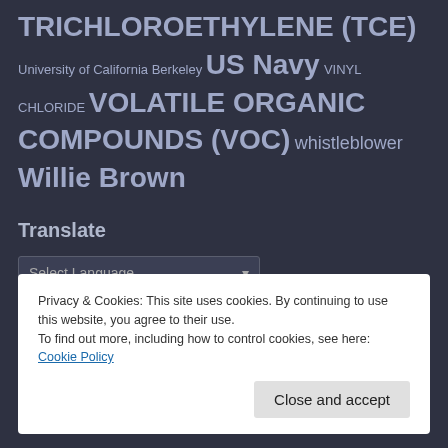TRICHLOROETHYLENE (TCE) University of California Berkeley US Navy VINYL CHLORIDE VOLATILE ORGANIC COMPOUNDS (VOC) whistleblower Willie Brown
Translate
Select Language — Powered by Google Translate
Privacy & Cookies: This site uses cookies. By continuing to use this website, you agree to their use. To find out more, including how to control cookies, see here: Cookie Policy